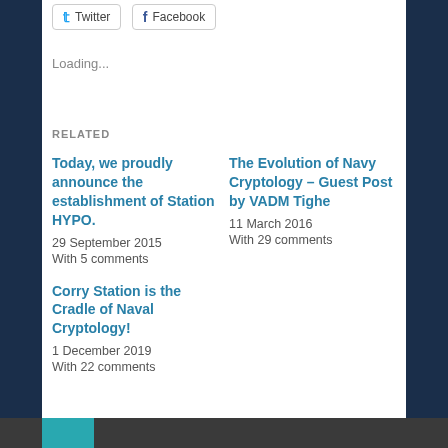[Figure (screenshot): Social share buttons for Twitter and Facebook]
Loading...
RELATED
Today, we proudly announce the establishment of Station HYPO.
29 September 2015
With 5 comments
The Evolution of Navy Cryptology – Guest Post by VADM Tighe
11 March 2016
With 29 comments
Corry Station is the Cradle of Naval Cryptology!
1 December 2019
With 22 comments